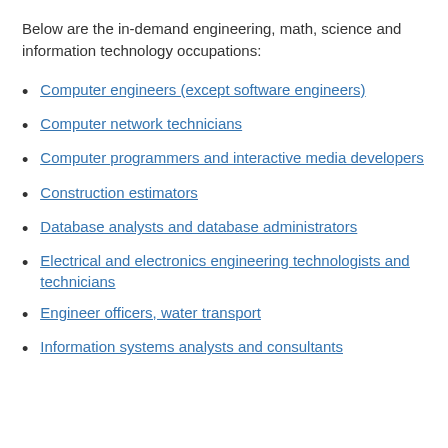Below are the in-demand engineering, math, science and information technology occupations:
Computer engineers (except software engineers)
Computer network technicians
Computer programmers and interactive media developers
Construction estimators
Database analysts and database administrators
Electrical and electronics engineering technologists and technicians
Engineer officers, water transport
Information systems analysts and consultants